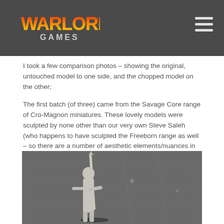Warlord Games
I took a few comparison photos – showing the original, untouched model to one side, and the chopped model on the other;
The first batch (of three) came from the Savage Core range of Cro-Magnon miniatures. These lovely models were sculpted by none other than our very own Steve Saleh (who happens to have sculpted the Freeborn range as well – so there are a number of aesthetic elements/nuances in common between these and the official Mhagris models – huzzah!)
[Figure (photo): A grey/white unpainted miniature figure holding a spear or weapon, photographed against a dark grey background]